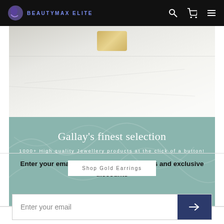BEAUTYMAX ELITE
[Figure (photo): Close-up photo of jewellery item on white background, partially cropped at top]
Gallay's finest selection
1000+ High quality Jewellery products at the click of a button!
Shop Gold Earrings
Enter your email and receive special offers and exclusive discounts
Enter your email